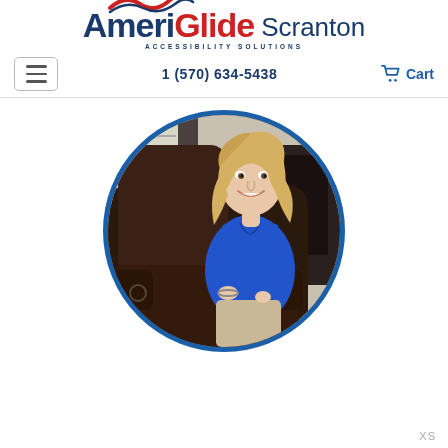[Figure (logo): AmeriGlide Scranton Accessibility Solutions logo with red wave accent above the 'i', blue 'Ameri', red 'Glide', and gray 'Scranton' text]
1 (570) 634-5438  Cart
[Figure (photo): A smiling blonde woman in a blue blouse seated in a dark brown leather lift recliner chair, with a fireplace and flowers in the background. The photo is cropped in a circle with a blue border.]
XS